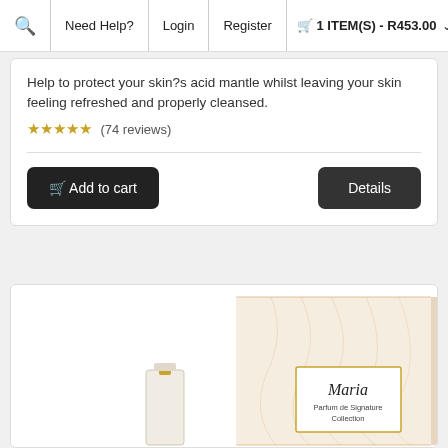Search | Need Help? | Login | Register | 🛒 1 ITEM(S) - R453.00
Help to protect your skin?s acid mantle whilst leaving your skin feeling refreshed and properly cleansed.
★★★★★ (74 reviews)
🛒 Add to cart   Details
[Figure (photo): Maria Parfum de Signature Collection perfume box and bottle on white background]